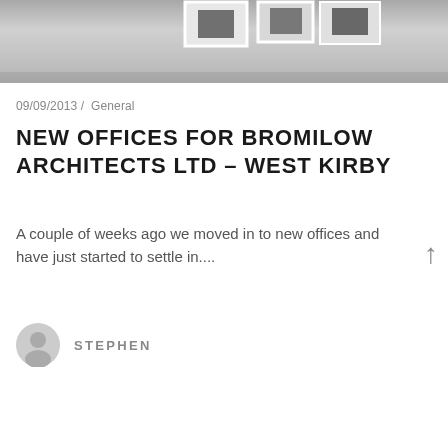[Figure (photo): A grayscale photo showing printed photos or cards pinned/laid on a white wall or surface, viewed from below.]
09/09/2013 /  General
NEW OFFICES FOR BROMILOW ARCHITECTS LTD – WEST KIRBY
A couple of weeks ago we moved in to new offices and have just started to settle in....
STEPHEN